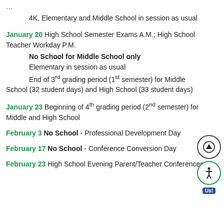4K, Elementary and Middle School in session as usual
January 20 High School Semester Exams A.M.; High School Teacher Workday P.M.
No School for Middle School only
Elementary in session as usual
End of 3rd grading period (1st semester) for Middle School (32 student days) and High School (33 student days)
January 23 Beginning of 4th grading period (2nd semester) for Middle and High School
February 3 No School - Professional Development Day
February 17 No School - Conference Conversion Day
February 23 High School Evening Parent/Teacher Conferences